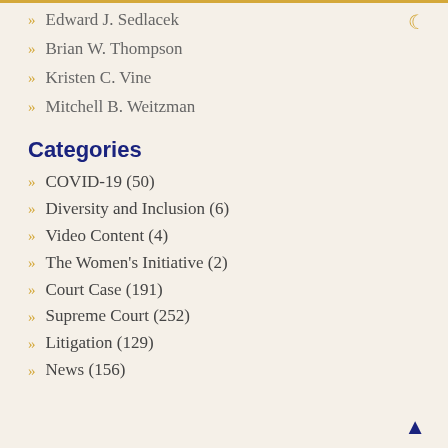Edward J. Sedlacek
Brian W. Thompson
Kristen C. Vine
Mitchell B. Weitzman
Categories
COVID-19 (50)
Diversity and Inclusion (6)
Video Content (4)
The Women's Initiative (2)
Court Case (191)
Supreme Court (252)
Litigation (129)
News (156)